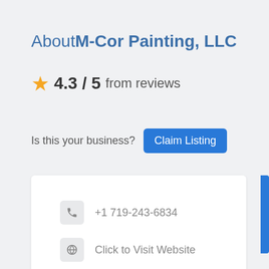About M-Cor Painting, LLC
4.3 / 5 from reviews
Is this your business? Claim Listing
+1 719-243-6834
Click to Visit Website